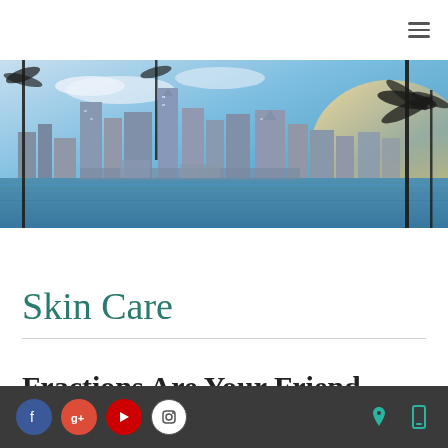[Figure (photo): San Diego city skyline panorama with waterfront, palm tree silhouettes in foreground, and warm sunset light on the right side. Blue sky with light clouds.]
Skin Care
Fractions Are Your Friend
Social media icons: Facebook, Google+, YouTube, Instagram. Location and mobile contact icons on the right.